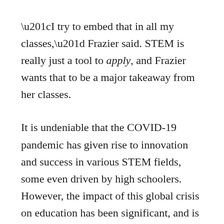“I try to embed that in all my classes,” Frazier said. STEM is really just a tool to apply, and Frazier wants that to be a major takeaway from her classes.
It is undeniable that the COVID-19 pandemic has given rise to innovation and success in various STEM fields, some even driven by high schoolers. However, the impact of this global crisis on education has been significant, and is felt by both instructors and students. From a lack of personal relationships and collaboration to missing